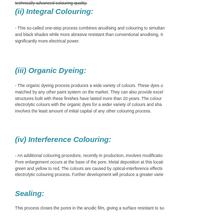technically advanced colouring quality.
(ii) Integral Colouring:
- This so-called one-step process combines anodising and colouring to simultaneously and black shades while more abrasive resistant than conventional anodising. It significantly more electrical power.
(iii) Organic Dyeing:
- The organic dyeing process produces a wide variety of colours. These dyes o matched by any other paint system on the market. They can also provide excel structures built with these finishes have lasted more than 20 years. The colour electrolytic colours with the organic dyes for a wider variety of colours and sha involves the least amount of initial capital of any other colouring process.
(iv) Interference Colouring:
- An additional colouring procedure, recently in production, involves modificatio Pore enlargement occurs at the base of the pore. Metal deposition at this locati green and yellow to red. The colours are caused by optical-interference effects electrolytic colouring process. Further development will produce a greater varie
Sealing:
This process closes the pores in the anodic film, giving a surface resistant to so